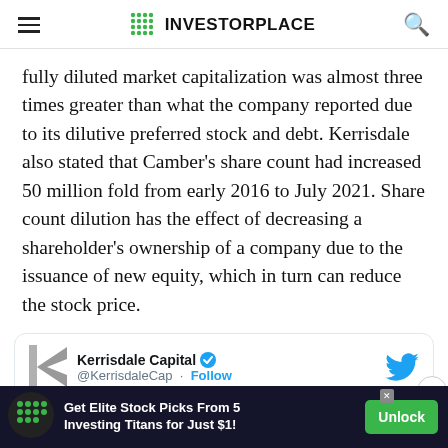INVESTORPLACE
fully diluted market capitalization was almost three times greater than what the company reported due to its dilutive preferred stock and debt. Kerrisdale also stated that Camber’s share count had increased 50 million fold from early 2016 to July 2021. Share count dilution has the effect of decreasing a shareholder’s ownership of a company due to the issuance of new equity, which in turn can reduce the stock price.
[Figure (screenshot): Embedded tweet from @KerrisdaleCap (Kerrisdale Capital) with a blue verified badge and Twitter Follow button, with partial tweet body text visible]
[Figure (infographic): Advertisement banner: Get Elite Stock Picks From 5 Investing Titans for Just $1! with Unlock button]